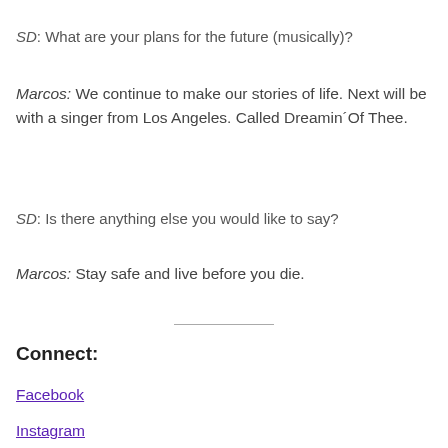SD: What are your plans for the future (musically)?
Marcos: We continue to make our stories of life. Next will be with a singer from Los Angeles. Called Dreamin´Of Thee.
SD: Is there anything else you would like to say?
Marcos: Stay safe and live before you die.
Connect:
Facebook
Instagram